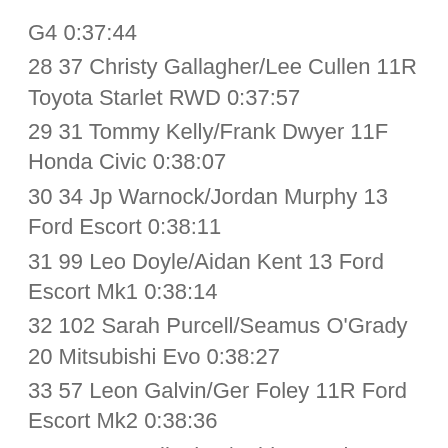G4 0:37:44
28 37 Christy Gallagher/Lee Cullen 11R Toyota Starlet RWD 0:37:57
29 31 Tommy Kelly/Frank Dwyer 11F Honda Civic 0:38:07
30 34 Jp Warnock/Jordan Murphy 13 Ford Escort 0:38:11
31 99 Leo Doyle/Aidan Kent 13 Ford Escort Mk1 0:38:14
32 102 Sarah Purcell/Seamus O'Grady 20 Mitsubishi Evo 0:38:27
33 57 Leon Galvin/Ger Foley 11R Ford Escort Mk2 0:38:36
34 61 Joe Gallagher/Ashley Boulton 4